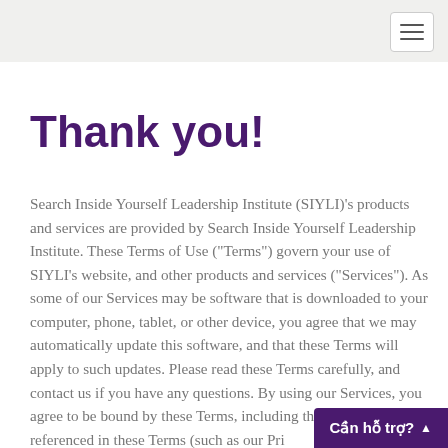Thank you!
Search Inside Yourself Leadership Institute (SIYLI)'s products and services are provided by Search Inside Yourself Leadership Institute. These Terms of Use ("Terms") govern your use of SIYLI's website, and other products and services ("Services"). As some of our Services may be software that is downloaded to your computer, phone, tablet, or other device, you agree that we may automatically update this software, and that these Terms will apply to such updates. Please read these Terms carefully, and contact us if you have any questions. By using our Services, you agree to be bound by these Terms, including the policies referenced in these Terms (such as our Privacy Policy…